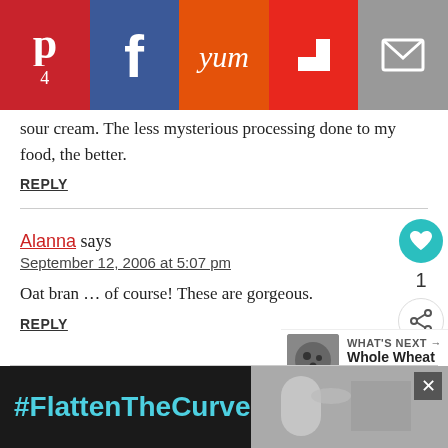[Figure (screenshot): Social sharing bar with Pinterest (4), Facebook, Yummly, Flipboard, and Email buttons]
sour cream. The less mysterious processing done to my food, the better.
REPLY
Alanna says
September 12, 2006 at 5:07 pm
Oat bran ... of course! These are gorgeous.
REPLY
[Figure (screenshot): WHAT'S NEXT arrow with cookie image and text: Whole Wheat Sour Cream...]
[Figure (screenshot): Ad banner: #FlattenTheCurve with faucet/handwashing image and X close button]